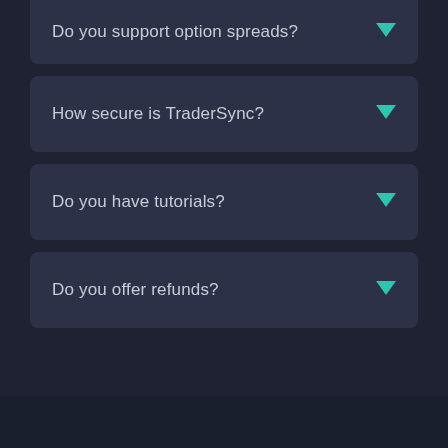Do you support option spreads?
How secure is TraderSync?
Do you have tutorials?
Do you offer refunds?